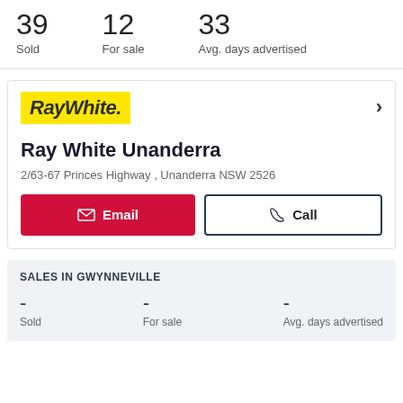| 39 Sold | 12 For sale | 33 Avg. days advertised |
| --- | --- | --- |
[Figure (logo): Ray White real estate agency logo — yellow background with bold italic dark text 'RayWhite.']
Ray White Unanderra
2/63-67 Princes Highway , Unanderra NSW 2526
Email  Call
SALES IN GWYNNEVILLE
| - Sold | - For sale | - Avg. days advertised |
| --- | --- | --- |